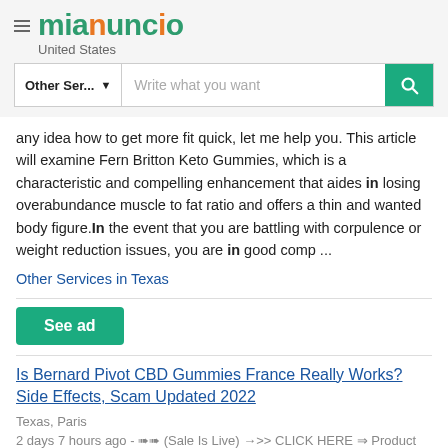mianuncio United States
Write what you want
any idea how to get more fit quick, let me help you. This article will examine Fern Britton Keto Gummies, which is a characteristic and compelling enhancement that aides in losing overabundance muscle to fat ratio and offers a thin and wanted body figure.In the event that you are battling with corpulence or weight reduction issues, you are in good comp ...
Other Services in Texas
See ad
Is Bernard Pivot CBD Gummies France Really Works? Side Effects, Scam Updated 2022
Texas, Paris
2 days 7 hours ago - ➠➠ (Sale Is Live) →>> CLICK HERE ⇒ Product